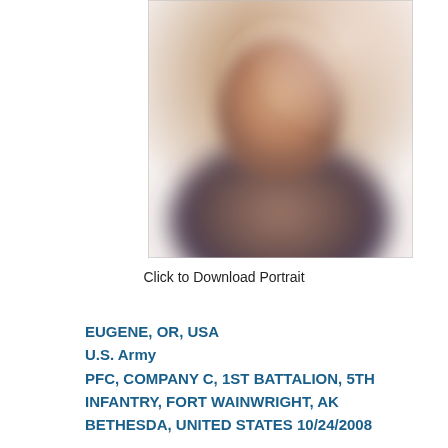[Figure (photo): Blurred/pixelated military portrait photo, showing a person in uniform against a neutral background. The image is blurred for privacy.]
Click to Download Portrait
EUGENE, OR, USA
U.S. Army
PFC, COMPANY C, 1ST BATTALION, 5TH INFANTRY, FORT WAINWRIGHT, AK
BETHESDA, UNITED STATES 10/24/2008